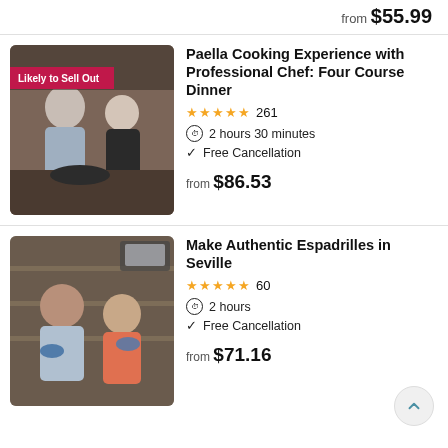from $55.99
[Figure (photo): Two people cooking paella together in a kitchen setting with a chalkboard in the background, with a 'Likely to Sell Out' badge overlay]
Paella Cooking Experience with Professional Chef: Four Course Dinner
★★★★★ 261
⏱ 2 hours 30 minutes
✓ Free Cancellation
from $86.53
[Figure (photo): Two people smiling and holding espadrille shoes in a shop full of goods]
Make Authentic Espadrilles in Seville
★★★★★ 60
⏱ 2 hours
✓ Free Cancellation
from $71.16